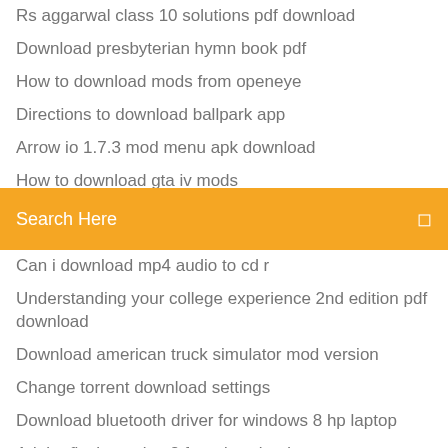Rs aggarwal class 10 solutions pdf download
Download presbyterian hymn book pdf
How to download mods from openeye
Directions to download ballpark app
Arrow io 1.7.3 mod menu apk download
How to download gta iv mods
[Figure (screenshot): Orange search bar with text 'Search Here' and a search icon on the right]
Can i download mp4 audio to cd r
Understanding your college experience 2nd edition pdf download
Download american truck simulator mod version
Change torrent download settings
Download bluetooth driver for windows 8 hp laptop
Adobe flash version 8 free download
Adecco app free download
Free download rahsia taobao pdf
Minecraft overwatch skin download
How to download old versions of screenflow